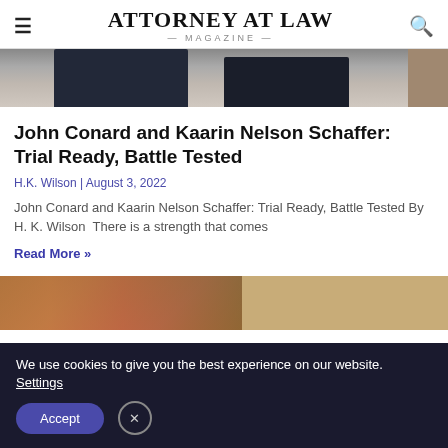ATTORNEY AT LAW MAGAZINE
[Figure (photo): Cropped photo showing two people seated, visible from waist down, dark clothing, wooden floor setting]
John Conard and Kaarin Nelson Schaffer: Trial Ready, Battle Tested
H.K. Wilson | August 3, 2022
John Conard and Kaarin Nelson Schaffer: Trial Ready, Battle Tested By H. K. Wilson  There is a strength that comes
Read More »
[Figure (photo): Partial view of a colorful painting or artwork with floral/leaf motifs in orange, red, teal colors; second panel shows a plain wall background]
We use cookies to give you the best experience on our website. Settings
Accept